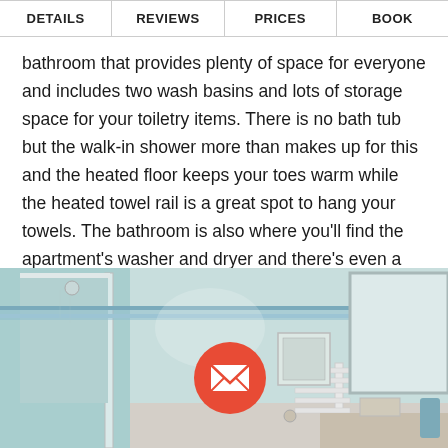DETAILS | REVIEWS | PRICES | BOOK
bathroom that provides plenty of space for everyone and includes two wash basins and lots of storage space for your toiletry items. There is no bath tub but the walk-in shower more than makes up for this and the heated floor keeps your toes warm while the heated towel rail is a great spot to hang your towels. The bathroom is also where you'll find the apartment's washer and dryer and there's even a hair dryer provided.
[Figure (photo): Bathroom interior with walk-in shower, heated towel rail, mirror, and vanity. An orange email button overlay is visible in the center.]